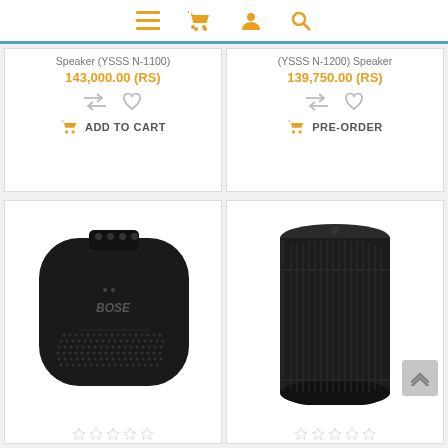[Figure (screenshot): E-commerce website navigation bar with hamburger menu, cart, user, and search icons in orange]
Speaker (YSSS N-1100)
143,000.00 (RS)
ADD TO CART
(YSSS N-1200) Speaker
139,750.00 (RS)
PRE-ORDER
[Figure (photo): Bose SoundLink Micro portable Bluetooth speaker in black, rounded square shape with speaker grille]
[Figure (photo): Bose SoundLink Revolve portable Bluetooth speaker in black, cylindrical tall shape with speaker grille]